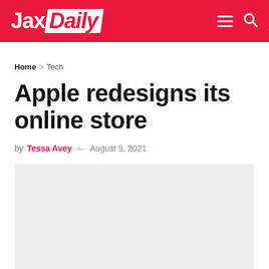Jax Daily
Home > Tech
Apple redesigns its online store
by Tessa Avey — August 5, 2021
[Figure (photo): Light gray placeholder image area below the article byline]